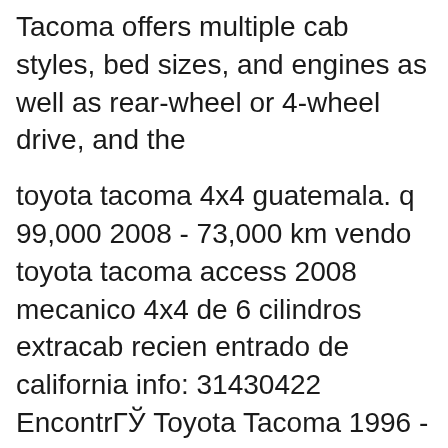Tacoma offers multiple cab styles, bed sizes, and engines as well as rear-wheel or 4-wheel drive, and the
toyota tacoma 4x4 guatemala. q 99,000 2008 - 73,000 km vendo toyota tacoma access 2008 mecanico 4x4 de 6 cilindros extracab recien entrado de california info: 31430422 EncontrГЎ Toyota Tacoma 1996 - Repuestos para Autos y Camionetas en Mercado Libre Argentina. DescubrГ la mejor forma de comprar online.
Vendo Toyota Tacoma 96 en buen Estado, no gasta aceite, motor nГtido tiene fuerza, tiene buena carrera, pintura original, chasis no picada